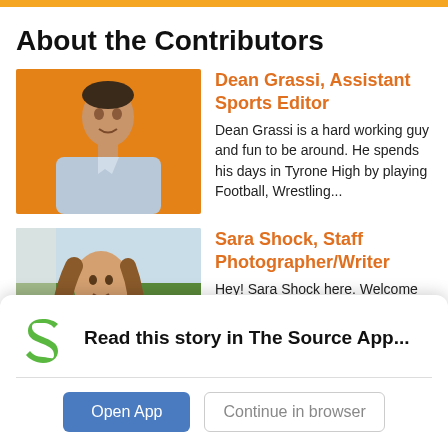About the Contributors
[Figure (photo): Headshot of Dean Grassi seated against an orange background, wearing a light blue shirt and smiling]
Dean Grassi, Assistant Sports Editor
Dean Grassi is a hard working guy and fun to be around. He spends his days in Tyrone High by playing Football, Wrestling...
[Figure (photo): Headshot of Sara Shock with long brown hair, smiling, outdoors with green trees in background]
Sara Shock, Staff Photographer/Writer
Hey! Sara Shock here. Welcome to my profile. This is my second
[Figure (logo): Student News Source logo — green stylized S with text Student News SOURCE below]
Read this story in The Source App...
Open App
Continue in browser